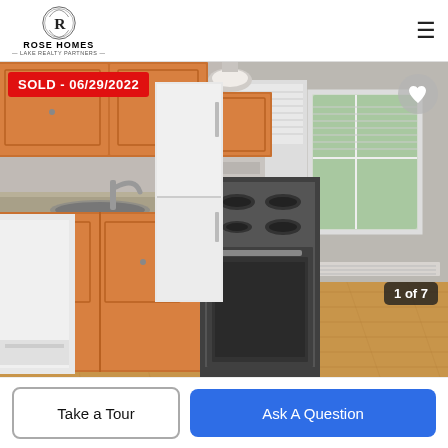[Figure (logo): Rose Homes – Lake Realty Partners logo with decorative R emblem]
[Figure (photo): Interior photo of a kitchen with oak cabinets, granite countertops, gas stove, white dishwasher, stainless sink, hardwood floors, two windows and baseboard heating. Red banner 'SOLD - 06/29/2022' overlaid top-left. Photo counter '1 of 7' overlaid bottom-right.]
SOLD - 06/29/2022
1 of 7
Take a Tour
Ask A Question